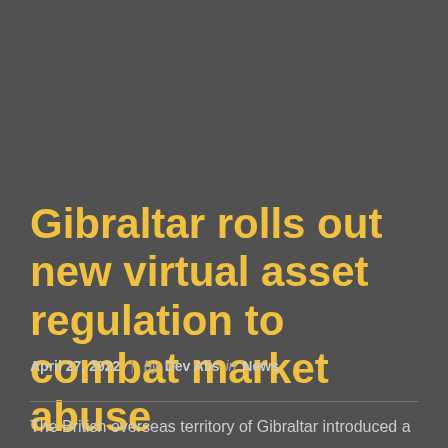Gibraltar rolls out new virtual asset regulation to combat market abuse
April 27, 2022  |  by  Dev Alis  in  News
The British overseas territory of Gibraltar introduced a